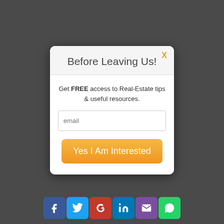Before Leaving Us!
Get FREE access to Real-Estate tips & useful resources.
[Figure (screenshot): Email input field with placeholder text 'email']
Yes I Am Interested
[Figure (infographic): Social media share icons row: Facebook, Twitter, Google+, LinkedIn, Email, WhatsApp]